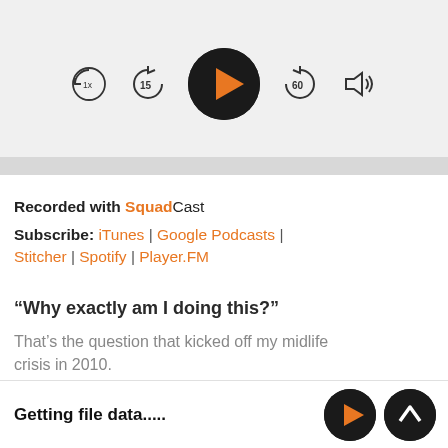[Figure (screenshot): Podcast player UI with playback controls: speed (1x), rewind 15s, play button (orange triangle on black circle), forward 60s, and volume icon. Progress bar at bottom of player area.]
Recorded with SquadCast
Subscribe: iTunes | Google Podcasts | Stitcher | Spotify | Player.FM
“Why exactly am I doing this?”
That’s the question that kicked off my midlife crisis in 2010.
Getting file data.....